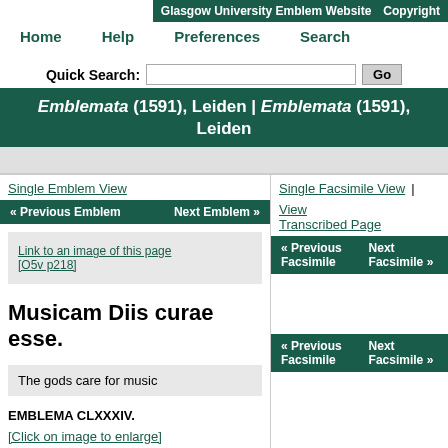Glasgow University Emblem Website | Copyright
Home   Help   Preferences   Search
Quick Search:  [input]  Go
Emblemata (1591), Leiden | Emblemata (1591), Leiden
Single Emblem View
« Previous Emblem   Next Emblem »
Link to an image of this page  [O5v p218]
Musicam Diis curae esse.
The gods care for music
EMBLEMA CLXXXIV.
[Click on image to enlarge]
Locrensis posuit tibi Delphice Phoebe cicadam
  Eunomus hanc, palmae signa decora suae.
Cantabat plectro Spartyn...
Single Facsimile View | View Transcribed Page
« Previous Facsimile   Next Facsimile »
« Previous Facsimile   Next Facsimile »